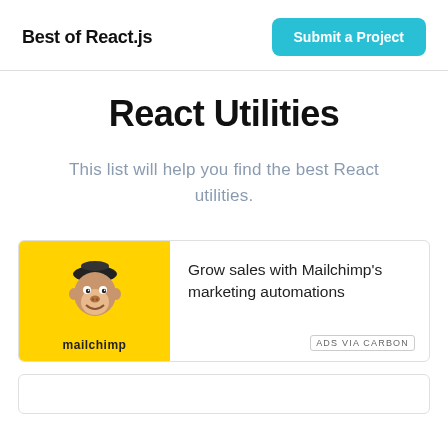Best of React.js
Submit a Project
React Utilities
This list will help you find the best React utilities.
[Figure (logo): Mailchimp advertisement card with yellow background showing Mailchimp monkey logo and text 'Grow sales with Mailchimp's marketing automations'. ADS VIA CARBON label at bottom right.]